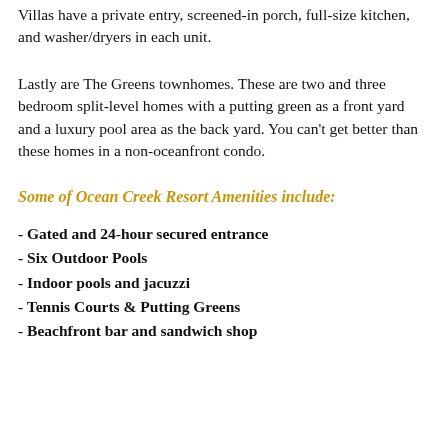Villas have a private entry, screened-in porch, full-size kitchen, and washer/dryers in each unit.
Lastly are The Greens townhomes. These are two and three bedroom split-level homes with a putting green as a front yard and a luxury pool area as the back yard. You can't get better than these homes in a non-oceanfront condo.
Some of Ocean Creek Resort Amenities include:
- Gated and 24-hour secured entrance
- Six Outdoor Pools
- Indoor pools and jacuzzi
- Tennis Courts & Putting Greens
- Beachfront bar and sandwich shop